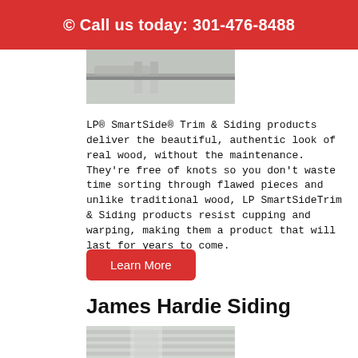© Call us today: 301-476-8488
[Figure (photo): Photo of gutters/trim on a house, partially visible at top]
LP® SmartSide® Trim & Siding products deliver the beautiful, authentic look of real wood, without the maintenance. They're free of knots so you don't waste time sorting through flawed pieces and unlike traditional wood, LP SmartSideTrim & Siding products resist cupping and warping, making them a product that will last for years to come.
Learn More
James Hardie Siding
[Figure (photo): Photo of a house with James Hardie siding, white horizontal panels visible]